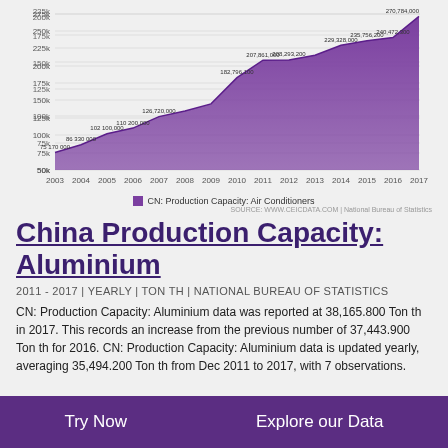[Figure (area-chart): CN: Production Capacity: Air Conditioners]
CN: Production Capacity: Air Conditioners
China Production Capacity: Aluminium
2011 - 2017 | YEARLY | TON TH | NATIONAL BUREAU OF STATISTICS
CN: Production Capacity: Aluminium data was reported at 38,165.800 Ton th in 2017. This records an increase from the previous number of 37,443.900 Ton th for 2016. CN: Production Capacity: Aluminium data is updated yearly, averaging 35,494.200 Ton th from Dec 2011 to 2017, with 7 observations.
Try Now    Explore our Data